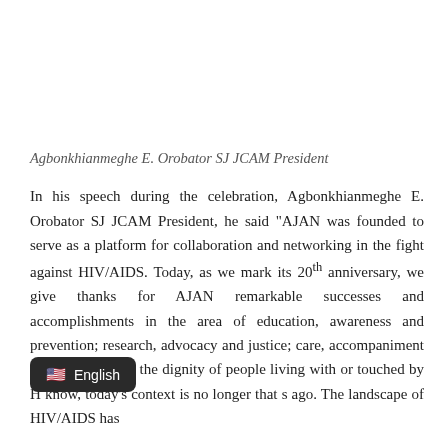Agbonkhianmeghe E. Orobator SJ JCAM President
In his speech during the celebration, Agbonkhianmeghe E. Orobator SJ JCAM President, he said "AJAN was founded to serve as a platform for collaboration and networking in the fight against HIV/AIDS. Today, as we mark its 20th anniversary, we give thanks for AJAN remarkable successes and accomplishments in the area of education, awareness and prevention; research, advocacy and justice; care, accompaniment and promotion of the dignity of people living with or touched by H[...] know, today's context is no longer that[...] s ago. The landscape of HIV/AIDS has